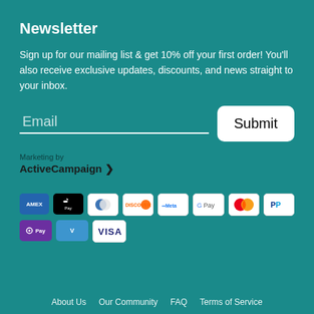Newsletter
Sign up for our mailing list & get 10% off your first order! You'll also receive exclusive updates, discounts, and news straight to your inbox.
[Figure (other): Email input field with placeholder text 'Email' and a white 'Submit' button]
Marketing by
ActiveCampaign ≫
[Figure (other): Payment method icons: AMEX, Apple Pay, Diners Club, Discover, Meta Pay, Google Pay, Mastercard, PayPal, OPay, Venmo, Visa]
About Us  Our Community  FAQ  Terms of Service